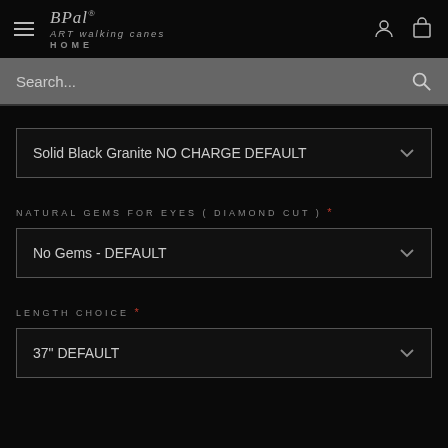BPal® ART walking canes HOME
Search...
Solid Black Granite NO CHARGE DEFAULT
NATURAL GEMS FOR EYES ( DIAMOND CUT ) *
No Gems - DEFAULT
LENGTH CHOICE *
37" DEFAULT